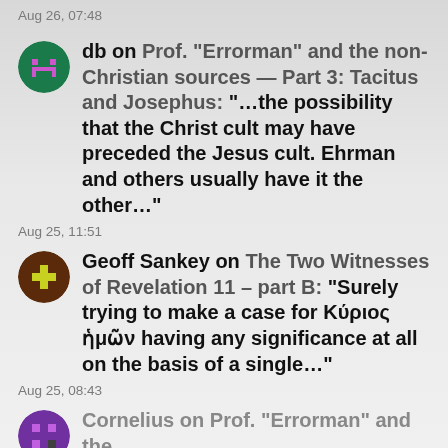Aug 26, 07:48
db on Prof. “Errorman” and the non-Christian sources — Part 3: Tacitus and Josephus: “…the possibility that the Christ cult may have preceded the Jesus cult. Ehrman and others usually have it the other…”
Aug 25, 11:51
Geoff Sankey on The Two Witnesses of Revelation 11 – part B: “Surely trying to make a case for Κύριος ἡμών having any significance at all on the basis of a single…”
Aug 25, 08:43
Cornelius on Prof. “Errorman” and the